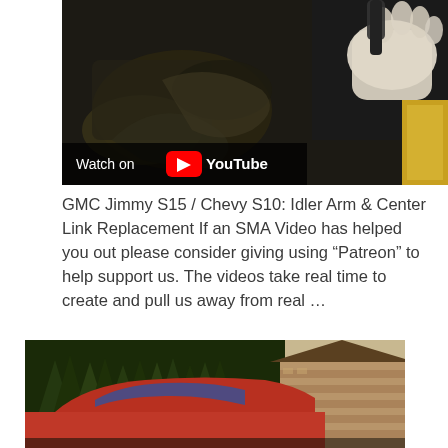[Figure (screenshot): YouTube video thumbnail showing a mechanic's gloved hand working on engine parts (idler arm / center link replacement). A dark 'Watch on YouTube' overlay bar appears in the bottom-left of the thumbnail.]
GMC Jimmy S15 / Chevy S10: Idler Arm & Center Link Replacement If an SMA Video has helped you out please consider giving using “Patreon” to help support us. The videos take real time to create and pull us away from real …
[Figure (photo): Photo of a red GMC Jimmy S15 or Chevy S10 SUV parked in front of a log cabin, with tall evergreen trees in the background.]